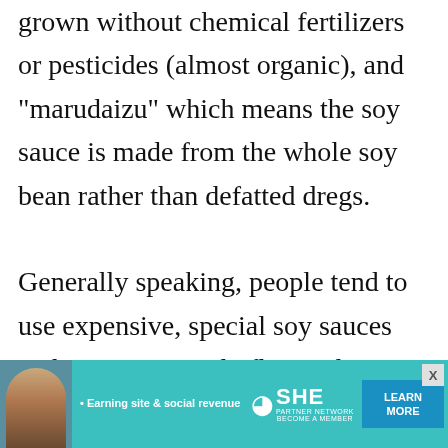grown without chemical fertilizers or pesticides (almost organic), and "marudaizu" which means the soy sauce is made from the whole soy bean rather than defatted dregs.

Generally speaking, people tend to use expensive, special soy sauces and very assertively flavored ones straight up, for dipping and other uses where it is not diluted by other
[Figure (other): Advertisement banner for SHE Partner Network with text '• Earning site & social revenue', SHE logo, 'PARTNER NETWORK BECOME A MEMBER' text, and a 'LEARN MORE' button in blue. Features a woman's photo on the left side.]